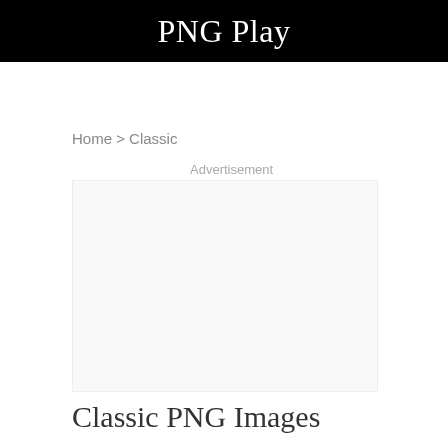PNG Play
Home > Classic
Advertisement
Classic PNG Images